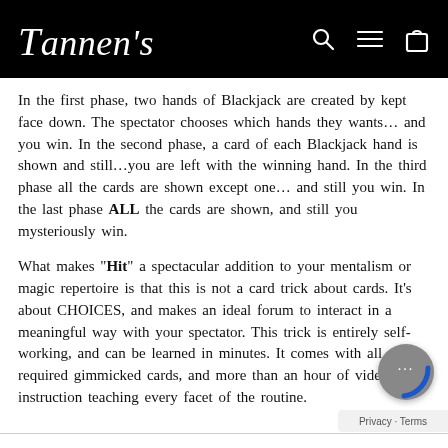Tannen's
In the first phase, two hands of Blackjack are created by kept face down. The spectator chooses which hands they wants... and you win. In the second phase, a card of each Blackjack hand is shown and still...you are left with the winning hand. In the third phase all the cards are shown except one... and still you win. In the last phase ALL the cards are shown, and still you mysteriously win.
What makes "Hit" a spectacular addition to your mentalism or magic repertoire is that this is not a card trick about cards. It's about CHOICES, and makes an ideal forum to interact in a meaningful way with your spectator. This trick is entirely self-working, and can be learned in minutes. It comes with all of the required gimmicked cards, and more than an hour of video instruction teaching every facet of the routine.